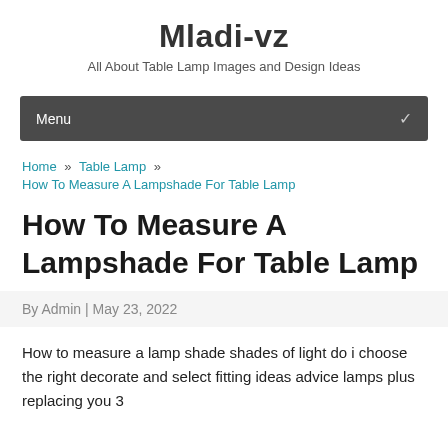Mladi-vz
All About Table Lamp Images and Design Ideas
Menu
Home » Table Lamp » How To Measure A Lampshade For Table Lamp
How To Measure A Lampshade For Table Lamp
By Admin | May 23, 2022
How to measure a lamp shade shades of light do i choose the right decorate and select fitting ideas advice lamps plus replacing you 3